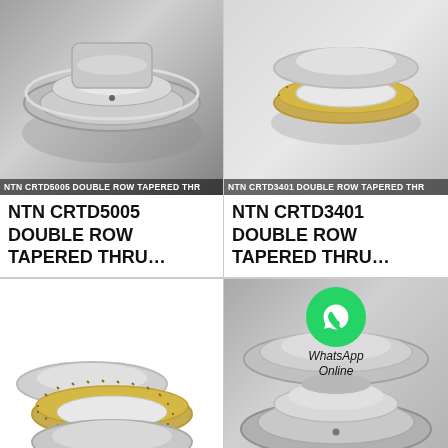[Figure (photo): NTN CRTD5005 double row tapered thrust roller bearing - silver metallic bearing close-up]
[Figure (photo): NTN CRTD3401 double row tapered thrust roller bearing - silver and gold components]
NTN CRTD5005 DOUBLE ROW TAPERED THRU…
NTN CRTD3401 DOUBLE ROW TAPERED THRU…
[Figure (photo): FAG 528294 double row tapered thrust roller bearing - gold and silver rings disassembled]
[Figure (photo): FAG 528974 double row tapered thrust roller bearing - silver assembled bearing with WhatsApp Online overlay]
All Products
Contact Now